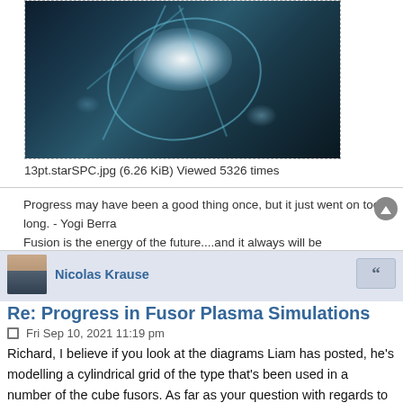[Figure (photo): Fusor plasma photograph showing bright central glow with arc lines against dark background]
13pt.starSPC.jpg (6.26 KiB) Viewed 5326 times
Progress may have been a good thing once, but it just went on too long. - Yogi Berra
Fusion is the energy of the future....and it always will be
Retired now...Doing only what I want and not what I should...every day is a saturday.
Nicolas Krause
Re: Progress in Fusor Plasma Simulations
Fri Sep 10, 2021 11:19 pm
Richard, I believe if you look at the diagrams Liam has posted, he's modelling a cylindrical grid of the type that's been used in a number of the cube fusors. As far as your question with regards to different grid geometries, the best reference I'm aware of is Matthew Lilley's work on ion orbits in the fusor. He investigated a 2d simulation of the standard fusor type grid you're asking about. I don't know that the math is any more complex at the standard grid but let it be said that it does complicate things.